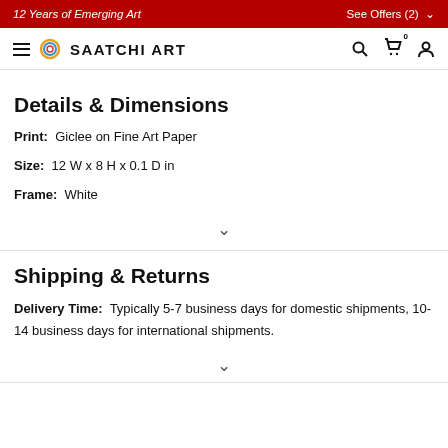12 Years of Emerging Art | See Offers (2)
[Figure (logo): Saatchi Art logo with hamburger menu, search, cart (0), and user icons]
Details & Dimensions
Print: Giclee on Fine Art Paper
Size: 12 W x 8 H x 0.1 D in
Frame: White
Shipping & Returns
Delivery Time: Typically 5-7 business days for domestic shipments, 10-14 business days for international shipments.